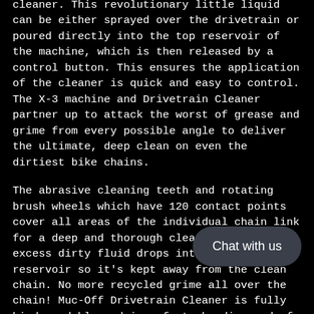cleaner. This revolutionary little liquid can be either sprayed over the drivetrain or poured directly into the top reservoir of the machine, which is then released by a control button. This ensures the application of the cleaner is quick and easy to control. The X-3 machine and Drivetrain Cleaner partner up to attack the worst of grease and grime from every possible angle to deliver the ultimate, deep clean on even the dirtiest bike chains.
The abrasive cleaning teeth and rotating brush wheels which have 120 contact points cover all areas of the individual chain link for a deep and thorough clean. Finally the excess dirty fluid drops into a second lower reservoir so it's kept away from the clean chain. No more recycled grime all over the chain! Muc-Off Drivetrain Cleaner is fully biodegradable and is safe to be disposed of down the drain if you previously used one of our bio chain lubes!
The X-3 Dirty Chain Machine is not compatible with track chains.
Included in the kit is a 75ml measure of Muc-Off Drivetrain Cleaner as well as the X-3 Dirty chain machine. This